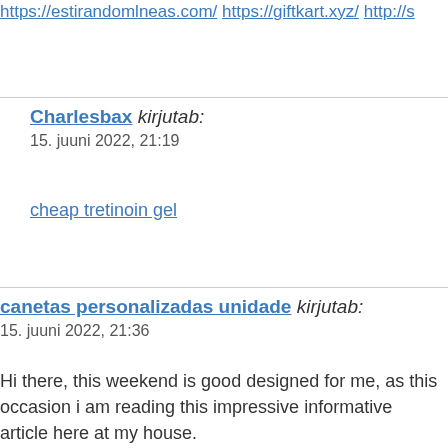https://estirandomlneas.com/ https://giftkart.xyz/ http://s
Charlesbax kirjutab:
15. juuni 2022, 21:19
cheap tretinoin gel
canetas personalizadas unidade kirjutab:
15. juuni 2022, 21:36
Hi there, this weekend is good designed for me, as this occasion i am reading this impressive informative article here at my house.
Williamaveve kirjutab:
15. juuni 2022, 22:52